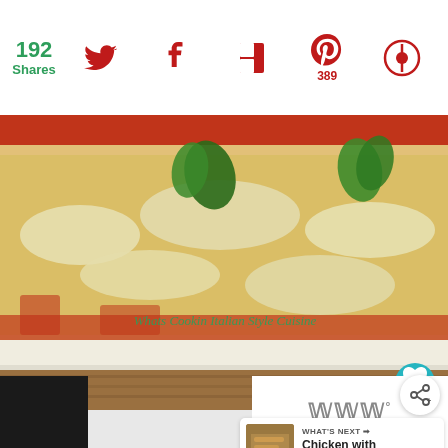192 Shares
[Figure (screenshot): Social share toolbar with Twitter, Facebook, Flipboard, Pinterest (389), and another icon]
[Figure (photo): Close-up photo of an Italian baked casserole dish with tomato sauce, shredded mozzarella cheese, breadcrumbs, and fresh mint leaves on a white baking dish. Watermark reads: Whats Cookin Italian Style Cuisine]
WHAT'S NEXT → Chicken with Bow Tie Pas...
[Figure (screenshot): Bottom bar with dark section on left and W3 logo on right]